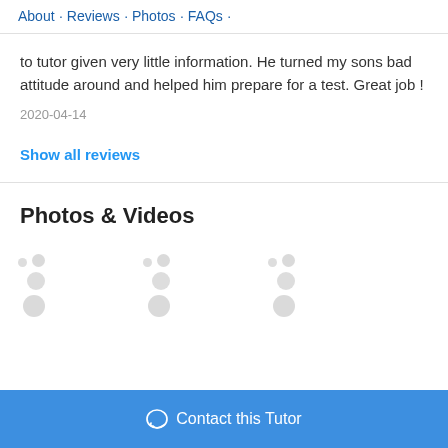About · Reviews · Photos · FAQs ·
to tutor given very little information. He turned my sons bad attitude around and helped him prepare for a test. Great job !
2020-04-14
Show all reviews
Photos & Videos
[Figure (other): Loading placeholder dots for photos/videos section]
Contact this Tutor